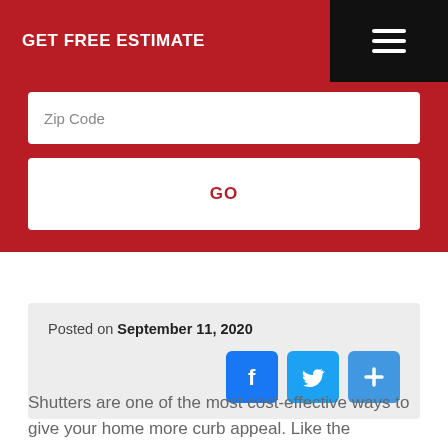GET FREE ESTIMATE
[Figure (screenshot): Web page UI showing a red header with 'GET FREE ESTIMATE' text, a hamburger menu icon on black background, a Zip Code input field, and a GO button, all on a red background. Below is a post meta box showing 'Posted on September 11, 2020' with Facebook, Twitter, and add social share buttons. At the bottom is article text beginning 'Shutters are one of the most cost-effective ways to give your home more curb appeal. Like the decorative frosting']
Zip Code
GO
Posted on September 11, 2020
Shutters are one of the most cost-effective ways to give your home more curb appeal. Like the decorative frosting